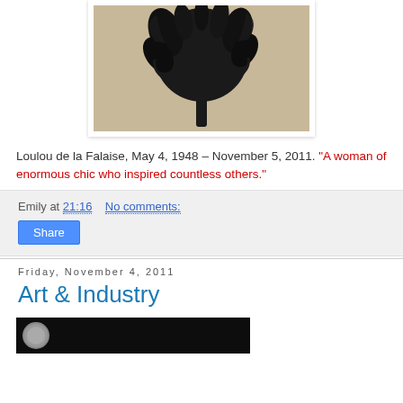[Figure (photo): Black and white photograph of a feathered hat or object on a stick, dark fluffy plume shape against a light beige background]
Loulou de la Falaise, May 4, 1948 – November 5, 2011. "A woman of enormous chic who inspired countless others."
Emily at 21:16    No comments:
Share
Friday, November 4, 2011
Art & Industry
[Figure (photo): Partial view of a dark image with a circular shape at bottom of page]